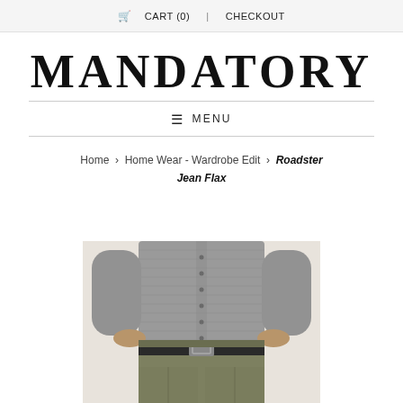CART (0)   CHECKOUT
MANDATORY
≡ MENU
Home › Home Wear - Wardrobe Edit › Roadster Jean Flax
[Figure (photo): A man wearing a grey knit sweater with buttons and khaki/olive trousers with a dark leather belt, standing against a light wall.]